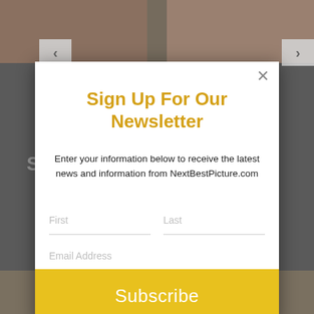[Figure (screenshot): Background of a website with movie/entertainment images partially visible behind a modal popup]
Sign Up For Our Newsletter
Enter your information below to receive the latest news and information from NextBestPicture.com
First
Last
Email Address
Subscribe